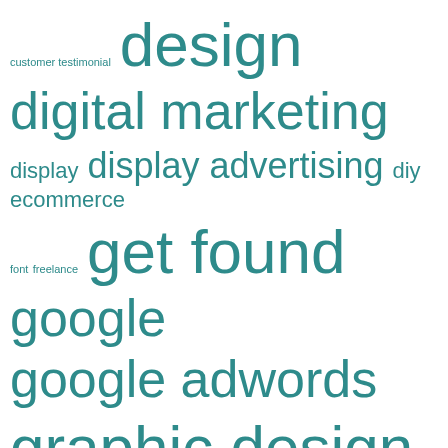[Figure (infographic): Word cloud with digital marketing related terms in teal/dark cyan color, varying font sizes indicating frequency/importance. Terms include: customer testimonial, design, digital marketing, display, display advertising, diy, ecommerce, font, freelance, get found, google, google adwords, graphic design, instagram, lawyer, logo, marketing tips, mobile, mobile optimized, mobile search, mobile website, online, online directories, online marketing, philippines, search engine marketing, search engine optimization, search marketing, sem, seo, small business, small business marketing, small business website]